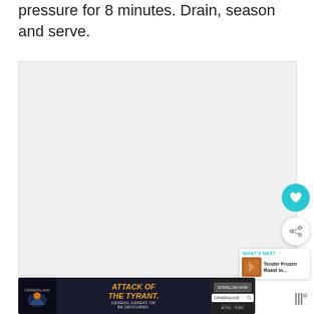pressure for 8 minutes. Drain, season and serve.
[Figure (photo): Large light gray placeholder image area for an embedded photo or video]
[Figure (illustration): Heart/favorite button - cyan circular button with heart icon]
[Figure (illustration): Share button - white circular button with share/plus icon]
[Figure (screenshot): What's Next card showing 'Tender Frozen Roast in...' with thumbnail]
[Figure (screenshot): Advertisement banner for Crimeraland game: 'Attack of the Tyrant. Defend, Defeat, Or Be Devoured.']